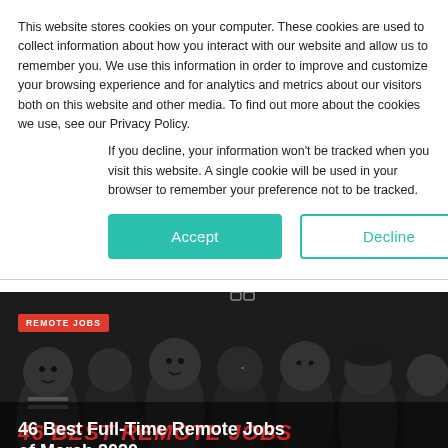This website stores cookies on your computer. These cookies are used to collect information about how you interact with our website and allow us to remember you. We use this information in order to improve and customize your browsing experience and for analytics and metrics about our visitors both on this website and other media. To find out more about the cookies we use, see our Privacy Policy.
If you decline, your information won't be tracked when you visit this website. A single cookie will be used in your browser to remember your preference not to be tracked.
Accept | Decline
[Figure (illustration): Black and white cartoon illustration of a crowd of people. Red badge with 'REMOTE JOBS' text in upper left. Large red italic text '46 BEST REMOTE JOBS' overlaid. White bold title text reads '46 Best Full-Time Remote Jobs of March 2020'.]